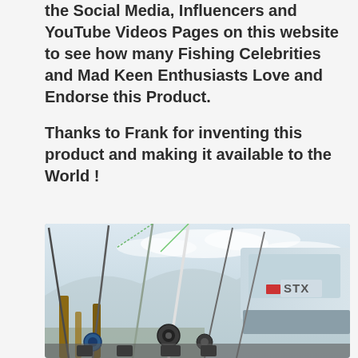the Social Media, Influencers and YouTube Videos Pages on this website to see how many Fishing Celebrities and Mad Keen Enthusiasts Love and Endorse this Product.
Thanks to Frank for inventing this product and making it available to the World !
[Figure (photo): Multiple fishing rods with reels mounted on a rod holder attached to a truck (STX badge visible), shot at a dock with wooden posts in the background and cloudy sky]